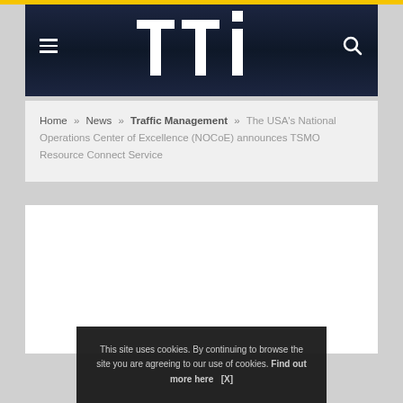[Figure (logo): TTI (Texas Transportation Institute or similar) website header with dark navy background, white 'tti' large lettermark logo, hamburger menu icon on left, search icon on right, yellow top bar accent]
Home » News » Traffic Management » The USA's National Operations Center of Excellence (NOCoE) announces TSMO Resource Connect Service
This site uses cookies. By continuing to browse the site you are agreeing to our use of cookies. Find out more here   [X]